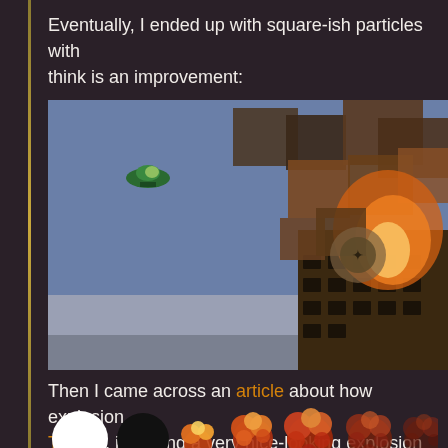Eventually, I ended up with square-ish particles with think is an improvement:
[Figure (screenshot): Game screenshot showing a side-scrolling scene with blue sky, a small green spaceship on the left, and a burning building on the right with large square-ish explosion particles in dark orange/brown colors and fire effects]
Then I came across an article about how explosion Throne, including a very nice-looking explosion ani
[Figure (illustration): Row of explosion sprite frames: white circle, black circle, then 5 progressively detailed orange/red fireball sprites growing in complexity]